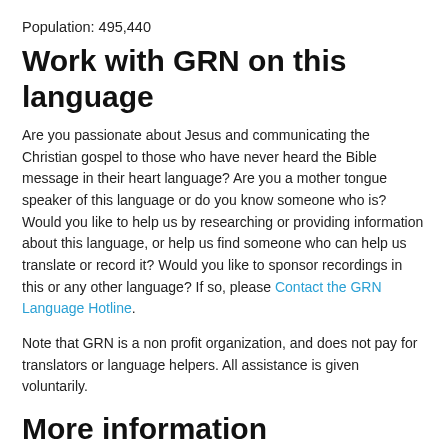Population: 495,440
Work with GRN on this language
Are you passionate about Jesus and communicating the Christian gospel to those who have never heard the Bible message in their heart language? Are you a mother tongue speaker of this language or do you know someone who is? Would you like to help us by researching or providing information about this language, or help us find someone who can help us translate or record it? Would you like to sponsor recordings in this or any other language? If so, please Contact the GRN Language Hotline.
Note that GRN is a non profit organization, and does not pay for translators or language helpers. All assistance is given voluntarily.
More information